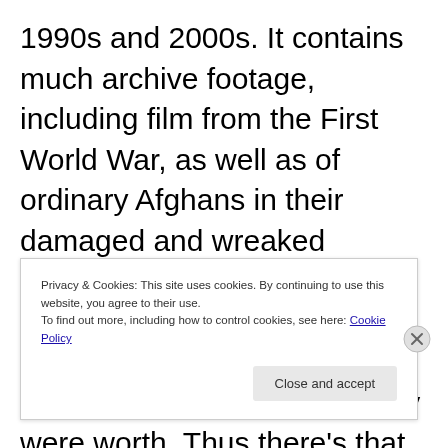1990s and 2000s. It contains much archive footage, including film from the First World War, as well as of ordinary Afghans in their damaged and wreaked homes. It also has shots of Murdoch and some of the other TV journalists celebrating the war for all they were worth. Thus there’s that infamous piece of footage where Geraldo Rivero raves when a
Privacy & Cookies: This site uses cookies. By continuing to use this website, you agree to their use.
To find out more, including how to control cookies, see here: Cookie Policy
Close and accept